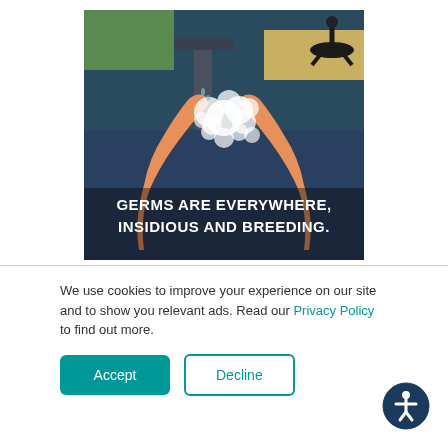[Figure (illustration): Animated illustration of two hands being washed under running water with soap suds, shown at a sink in an office environment with a chair visible in the background. Text overlay reads: GERMS ARE EVERYWHERE, INSIDIOUS AND BREEDING.]
We use cookies to improve your experience on our site and to show you relevant ads. Read our Privacy Policy to find out more.